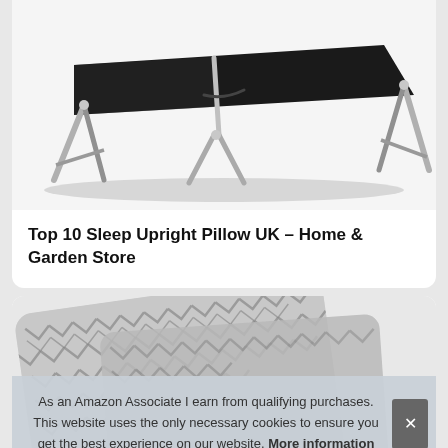[Figure (photo): Product photo of a black folding camping cot with silver metal frame legs, viewed from the side on a white background]
Top 10 Sleep Upright Pillow UK – Home & Garden Store
[Figure (photo): Partial view of a grey and white geometric patterned pillow/cushion with herringbone design]
As an Amazon Associate I earn from qualifying purchases. This website uses the only necessary cookies to ensure you get the best experience on our website. More information